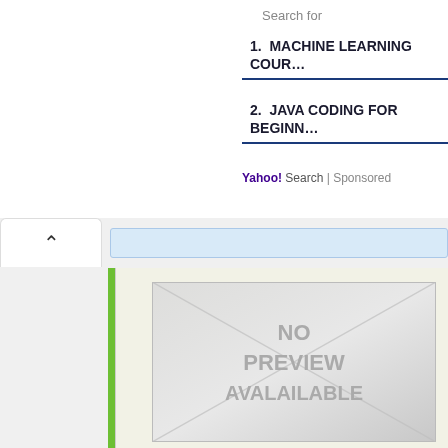Search for
1. MACHINE LEARNING COUR…
2. JAVA CODING FOR BEGINN…
Yahoo! Search | Sponsored
[Figure (screenshot): No preview available placeholder image with diagonal cross lines and text 'NO PREVIEW AVALAILABLE']
No preview available yet
https://gdpkeyboarding.com/